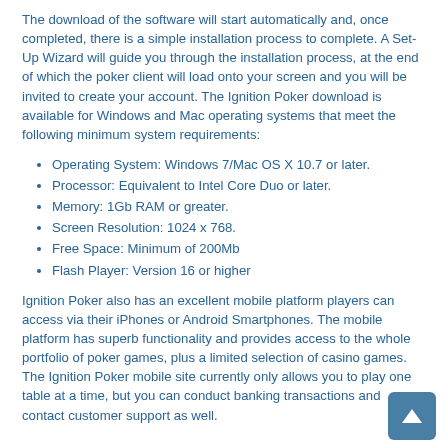The download of the software will start automatically and, once completed, there is a simple installation process to complete. A Set-Up Wizard will guide you through the installation process, at the end of which the poker client will load onto your screen and you will be invited to create your account. The Ignition Poker download is available for Windows and Mac operating systems that meet the following minimum system requirements:
Operating System: Windows 7/Mac OS X 10.7 or later.
Processor: Equivalent to Intel Core Duo or later.
Memory: 1Gb RAM or greater.
Screen Resolution: 1024 x 768.
Free Space: Minimum of 200Mb
Flash Player: Version 16 or higher
Ignition Poker also has an excellent mobile platform players can access via their iPhones or Android Smartphones. The mobile platform has superb functionality and provides access to the whole portfolio of poker games, plus a limited selection of casino games. The Ignition Poker mobile site currently only allows you to play one table at a time, but you can conduct banking transactions and contact customer support as well.